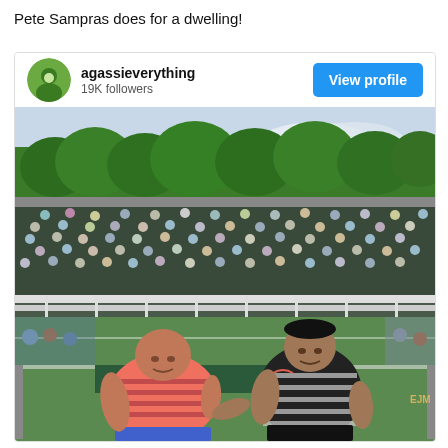Pete Sampras does for a dwelling!
[Figure (screenshot): Instagram profile card for 'agassieverything' with 19K followers showing a photo of two men (Andre Agassi in orange striped shirt and Pete Sampras in black striped shirt) posing on a tennis court with spectators in the stands behind them.]